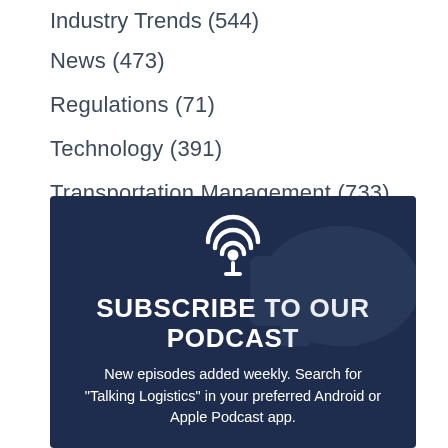Industry Trends (544)
News (473)
Regulations (71)
Technology (391)
Transportation Management (733)
[Figure (infographic): Subscribe to our podcast banner with podcast icon, title 'SUBSCRIBE TO OUR PODCAST', and description 'New episodes added weekly. Search for "Talking Logistics" in your preferred Android or Apple Podcast app.' on a dark navy background with a faint truck/transportation image overlay.]